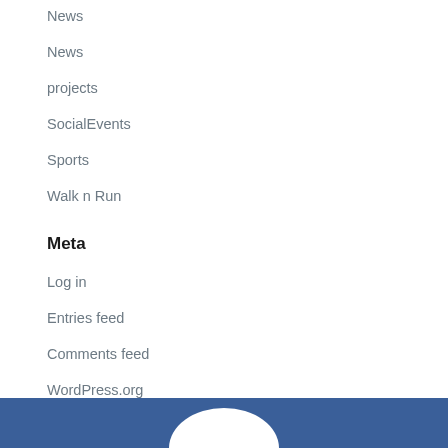News
News
projects
SocialEvents
Sports
Walk n Run
Meta
Log in
Entries feed
Comments feed
WordPress.org
[Figure (other): Blue footer bar with white arc/logo shape at bottom center]